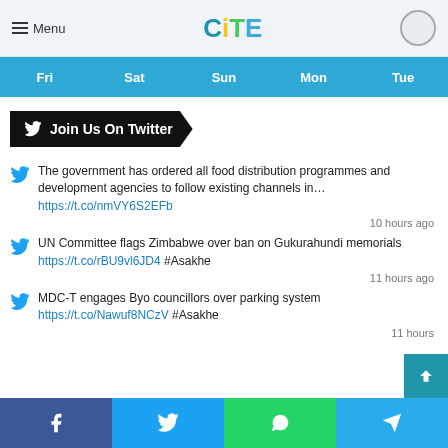Menu | CITE
| Fri | Sat | Sun | Mon | Tue |
| --- | --- | --- | --- | --- |
Join Us On Twitter
The government has ordered all food distribution programmes and development agencies to follow existing channels in… https://t.co/nmVY6S2EFb
10 hours ago
UN Committee flags Zimbabwe over ban on Gukurahundi memorials https://t.co/rBU9vl6JD4 #Asakhe
11 hours ago
MDC-T engages Byo councillors over parking system https://t.co/Nawuf8NCzV #Asakhe
11 hours
Facebook | Twitter | WhatsApp | Telegram